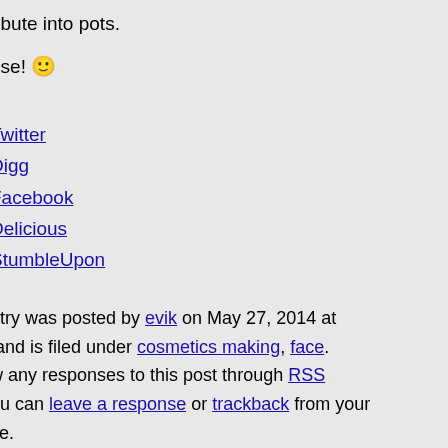ribute into pots.
use! 🙂
Twitter
Digg
Facebook
Delicious
StumbleUpon
ntry was posted by evik on May 27, 2014 at and is filed under cosmetics making, face. w any responses to this post through RSS ou can leave a response or trackback from your ite.
Comments (11)
Related Posts
find any related posts :(
[Figure (illustration): Small bowl/mortar icon illustration]
#1 written by Angela 8 years ago